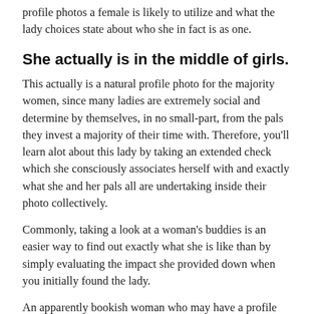profile photos a female is likely to utilize and what the lady choices state about who she in fact is as one.
She actually is in the middle of girls.
This actually is a natural profile photo for the majority women, since many ladies are extremely social and determine by themselves, in no small-part, from the pals they invest a majority of their time with. Therefore, you'll learn alot about this lady by taking an extended check which she consciously associates herself with and exactly what she and her pals all are undertaking inside their photo collectively.
Commonly, taking a look at a woman's buddies is an easier way to find out exactly what she is like than by simply evaluating the impact she provided down when you initially found the lady.
An apparently bookish woman who may have a profile picture of this lady along with her women all decked out and able to strike the area will probably be more socially active and fun than you in the beginning imagined. A girl you came across at the nightclub whoever profile photo reveals her and her friends volunteering at an area soup kitchen have even more depth than the woman glitz